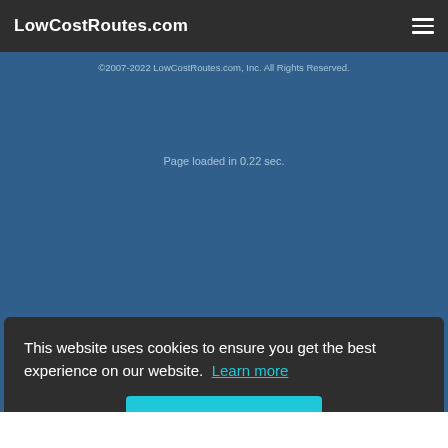LowCostRoutes.com
©2007-2022 LowCostRoutes.com, Inc. All Rights Reserved.
Page loaded in 0.22 sec.
This website uses cookies to ensure you get the best experience on our website. Learn more
Got it!